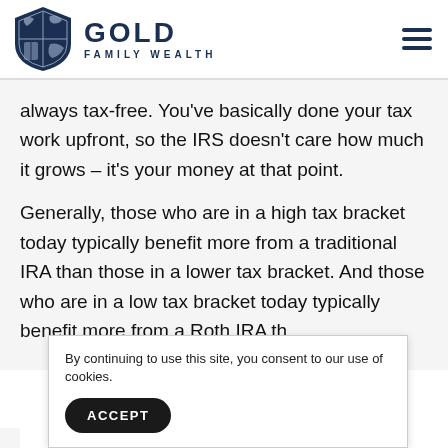[Figure (logo): Gold Family Wealth shield logo with 'GOLD' text and 'FAMILY WEALTH' subtitle]
always tax-free. You've basically done your tax work upfront, so the IRS doesn't care how much it grows – it's your money at that point.
Generally, those who are in a high tax bracket today typically benefit more from a traditional IRA than those in a lower tax bracket. And those who are in a low tax bracket today typically benefit more from a Roth IRA th…
By continuing to use this site, you consent to our use of cookies.
ACCEPT